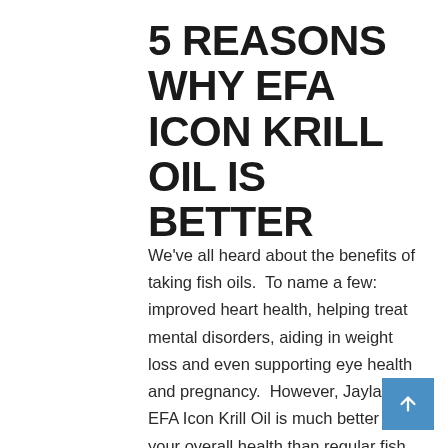5 REASONS WHY EFA ICON KRILL OIL IS BETTER
We've all heard about the benefits of taking fish oils.  To name a few: improved heart health, helping treat mental disorders, aiding in weight loss and even supporting eye health and pregnancy.  However, Jaylab EFA Icon Krill Oil is much better for your overall health than regular fish oil for multiple reasons. Antioxidant Power Believe it or not, Krill Oil is 297 times greater than vitamin A or E in this regard and 47 times greater than regular fish oil.  Remember antioxidants help prevent oxidation which are part of